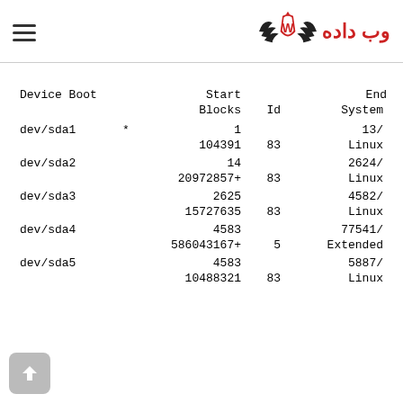وب داده [logo with W emblem]
| Device | Boot | Start | End
Blocks | Id | System |
| --- | --- | --- | --- | --- | --- |
| dev/sda1 | * | 1 | 13/ |  |  |
|  |  | 104391 |  | 83 | Linux |
| dev/sda2 |  | 14 | 2624/ |  |  |
|  |  | 20972857+ |  | 83 | Linux |
| dev/sda3 |  | 2625 | 4582/ |  |  |
|  |  | 15727635 |  | 83 | Linux |
| dev/sda4 |  | 4583 | 77541/ |  |  |
|  |  | 586043167+ |  | 5 | Extended |
| dev/sda5 |  | 4583 | 5887/ |  |  |
|  |  | 10488321 |  | 83 | Linux |